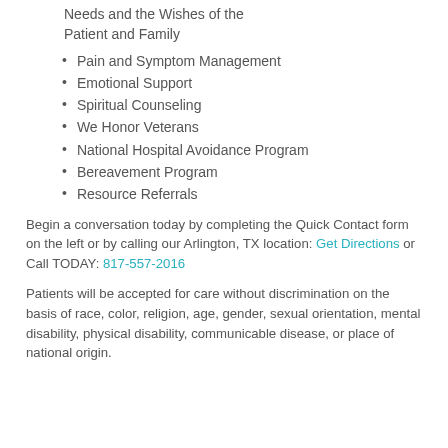Needs and the Wishes of the Patient and Family
Pain and Symptom Management
Emotional Support
Spiritual Counseling
We Honor Veterans
National Hospital Avoidance Program
Bereavement Program
Resource Referrals
Begin a conversation today by completing the Quick Contact form on the left or by calling our Arlington, TX location: Get Directions or Call TODAY: 817-557-2016
Patients will be accepted for care without discrimination on the basis of race, color, religion, age, gender, sexual orientation, mental disability, physical disability, communicable disease, or place of national origin.